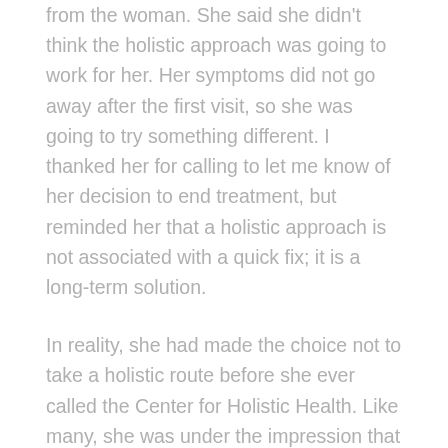from the woman. She said she didn't think the holistic approach was going to work for her. Her symptoms did not go away after the first visit, so she was going to try something different. I thanked her for calling to let me know of her decision to end treatment, but reminded her that a holistic approach is not associated with a quick fix; it is a long-term solution.
In reality, she had made the choice not to take a holistic route before she ever called the Center for Holistic Health. Like many, she was under the impression that holistic meant a natural, less invasive and even magical